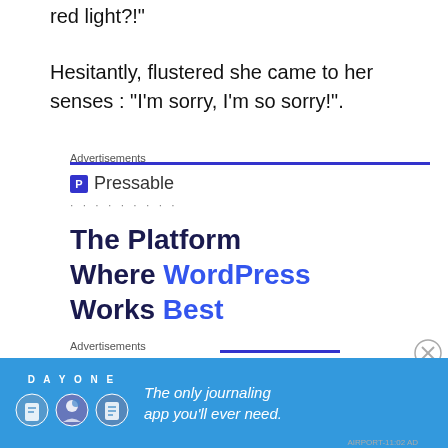red light?!"
Hesitantly, flustered she came to her senses : "I'm sorry, I'm so sorry!".
Advertisements
[Figure (infographic): Pressable advertisement. Blue bar at top, Pressable logo with 'P' icon, dots row, headline reading 'The Platform Where WordPress Works Best' with 'WordPress' and 'Best' in blue.]
Advertisements
[Figure (infographic): Day One app advertisement banner. Blue background. Left side shows 'DAY ONE' text and three circular icons. Right side text: 'The only journaling app you'll ever need.']